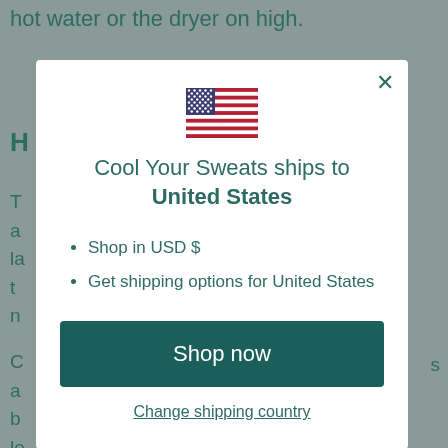hot water or the dryer on high.
[Figure (illustration): US flag emoji / icon]
Cool Your Sweats ships to United States
Shop in USD $
Get shipping options for United States
Shop now
Change shipping country